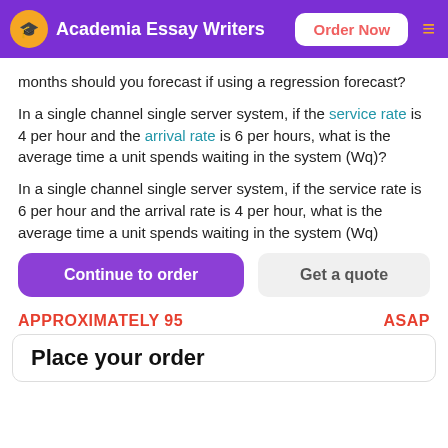Academia Essay Writers | Order Now
months should you forecast if using a regression forecast?
In a single channel single server system, if the service rate is 4 per hour and the arrival rate is 6 per hours, what is the average time a unit spends waiting in the system (Wq)?
In a single channel single server system, if the service rate is 6 per hour and the arrival rate is 4 per hour, what is the average time a unit spends waiting in the system (Wq)
Continue to order | Get a quote
APPROXIMATELY 95 | ASAP
Place your order